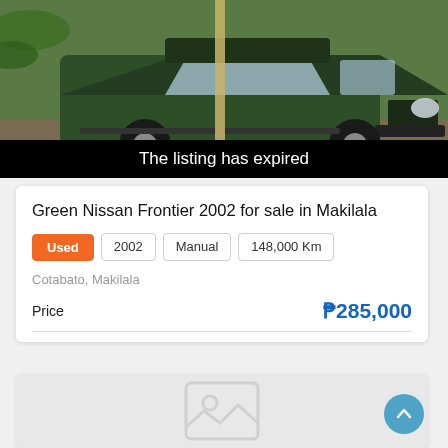[Figure (photo): Dark green Nissan Frontier 2002 SUV/pickup truck parked outdoors near palm trees and a wooden pole, viewed from a front-side angle]
The listing has expired
Green Nissan Frontier 2002 for sale in Makilala
Used   2002   Manual   148,000 Km
Cotabato, Makilala
Price   ₱285,000
[Figure (photo): Map placeholder with image icon indicating no map image loaded]